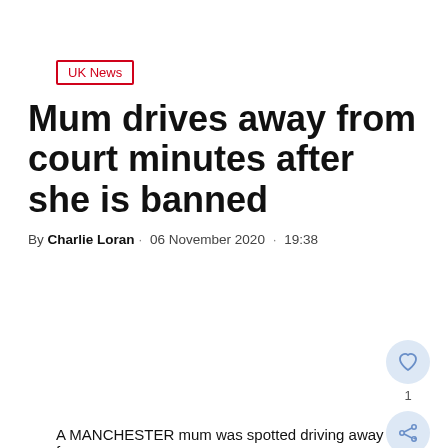UK News
Mum drives away from court minutes after she is banned
By Charlie Loran · 06 November 2020 · 19:38
A MANCHESTER mum was spotted driving away from